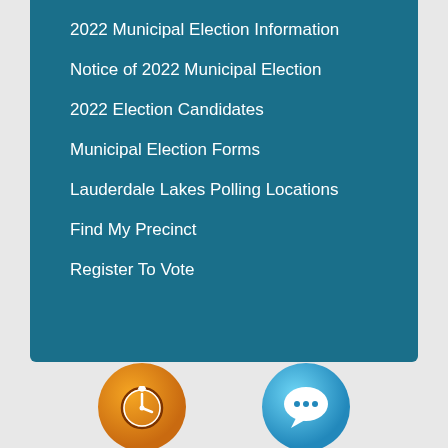2022 Municipal Election Information
Notice of 2022 Municipal Election
2022 Election Candidates
Municipal Election Forms
Lauderdale Lakes Polling Locations
Find My Precinct
Register To Vote
[Figure (illustration): Orange circular icon with a clock/timer symbol]
[Figure (illustration): Blue circular icon with a speech bubble/chat symbol]